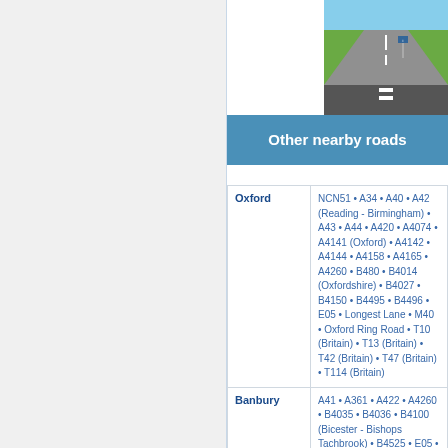[Figure (photo): Photograph of a road/motorway with green fields on either side, taken from a driving perspective]
Other nearby roads
|  |  |
| --- | --- |
| Oxford | NCN51 • A34 • A40 • A42 (Reading - Birmingham) • A43 • A44 • A420 • A4074 • A4141 (Oxford) • A4142 • A4144 • A4158 • A4165 • A4260 • B480 • B4014 (Oxfordshire) • B4027 • B4150 • B4495 • B4496 • E05 • Longest Lane • M40 • Oxford Ring Road • T10 (Britain) • T13 (Britain) • T42 (Britain) • T47 (Britain) • T114 (Britain) |
| Banbury | A41 • A361 • A422 • A4260 • B4035 • B4036 • B4100 (Bicester - Bishops Tachbrook) • B4525 • E05 • Longest |